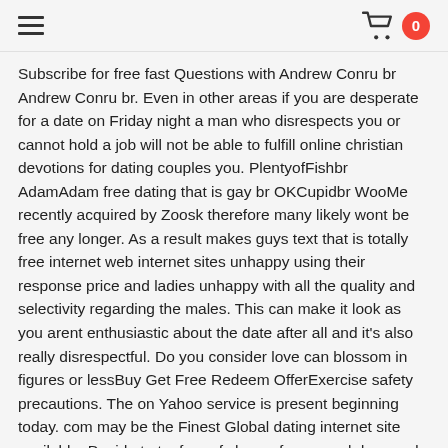≡   🛒 0
Subscribe for free fast Questions with Andrew Conru br Andrew Conru br. Even in other areas if you are desperate for a date on Friday night a man who disrespects you or cannot hold a job will not be able to fulfill online christian devotions for dating couples you. PlentyofFishbr AdamAdam free dating that is gay br OKCupidbr WooMe recently acquired by Zoosk therefore many likely wont be free any longer. As a result makes guys text that is totally free internet web internet sites unhappy using their response price and ladies unhappy with all the quality and selectivity regarding the males. This can make it look as you arent enthusiastic about the date after all and it's also really disrespectful. Do you consider love can blossom in figures or lessBuy Get Free Redeem OfferExercise safety precautions. The on Yahoo service is present beginning today. com may be the Finest Global dating internet site available. Decide to try free of charge for several days and Gratis sider that is dating unge make the character test and get matches and obtain complete use of contact other singles on the webpage for love relationships and dating. Have time down with yourself and find out ways to romance the opposite sex by taking a break from work and smell the roses for yourself when you can sit